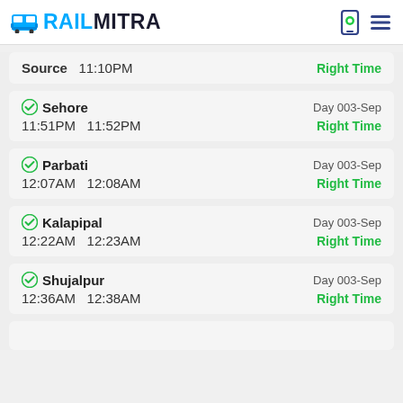RAILMITRA
Source  11:10PM  Right Time
Sehore  Day 003-Sep  11:51PM  11:52PM  Right Time
Parbati  Day 003-Sep  12:07AM  12:08AM  Right Time
Kalapipal  Day 003-Sep  12:22AM  12:23AM  Right Time
Shujalpur  Day 003-Sep  12:36AM  12:38AM  Right Time